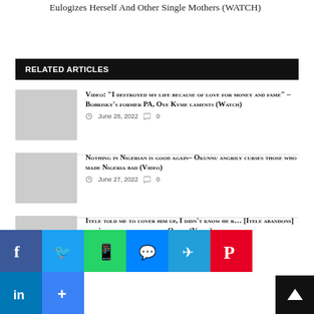Eulogizes Herself And Other Single Mothers (WATCH)
RELATED ARTICLES
VIDEO: “I destroyed my life because of love for money and fame” – Bobrisky’s former PA, Oye Kyme laments (WATCH)
June 28, 2022   0
Nothing in Nigerian is good again– Okunnu angrily curses those who made Nigeria bad (VIDEO)
June 27, 2022   0
Itele told me to cover him up, I didn’t know he r… [Itele abandons] wife’s reveals, swear with Quran (VIDEO)
June 30, 2022   0